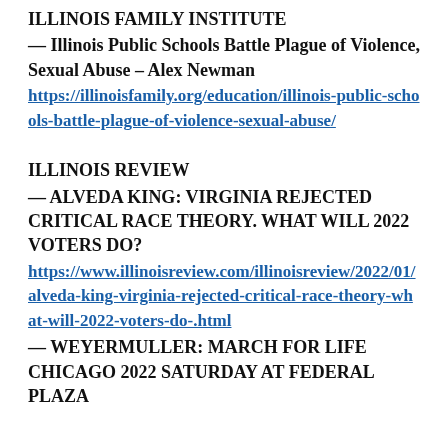ILLINOIS FAMILY INSTITUTE
— Illinois Public Schools Battle Plague of Violence, Sexual Abuse – Alex Newman
https://illinoisfamily.org/education/illinois-public-schools-battle-plague-of-violence-sexual-abuse/
ILLINOIS REVIEW
— ALVEDA KING: VIRGINIA REJECTED CRITICAL RACE THEORY. WHAT WILL 2022 VOTERS DO?
https://www.illinoisreview.com/illinoisreview/2022/01/alveda-king-virginia-rejected-critical-race-theory-what-will-2022-voters-do-.html
— WEYERMULLER: MARCH FOR LIFE CHICAGO 2022 SATURDAY AT FEDERAL PLAZA